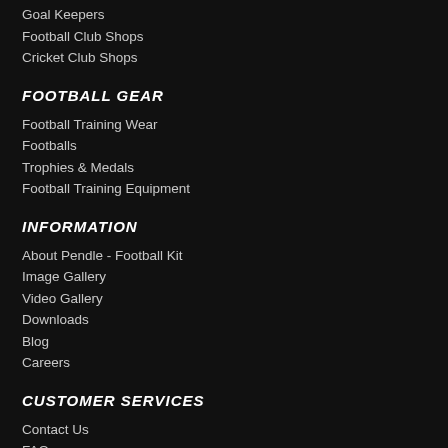Goal Keepers
Football Club Shops
Cricket Club Shops
FOOTBALL GEAR
Football Training Wear
Footballs
Trophies & Medals
Football Training Equipment
INFORMATION
About Pendle - Football Kit
Image Gallery
Video Gallery
Downloads
Blog
Careers
CUSTOMER SERVICES
Contact Us
FAQs
Size Guides & Washing Instructions
Delivery Information
Order Tracking